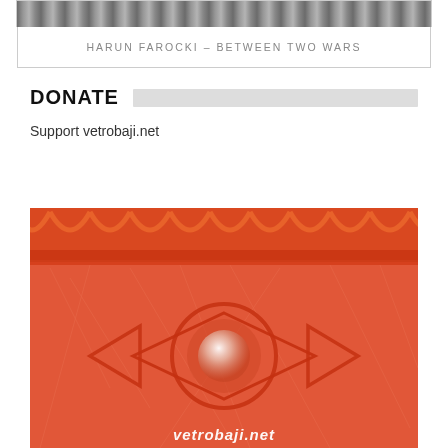[Figure (photo): Top strip showing a partially visible grayscale image, cropped at top of page]
HARUN FAROCKI – BETWEEN TWO WARS
DONATE
Support vetrobaji.net
[Figure (photo): Large orange-tinted decorative image featuring an eye-like motif with a central sphere/pearl, surrounded by diamond/arrow shapes and a scalloped border pattern along the top. Text 'vetrobaji.net' visible at the bottom.]